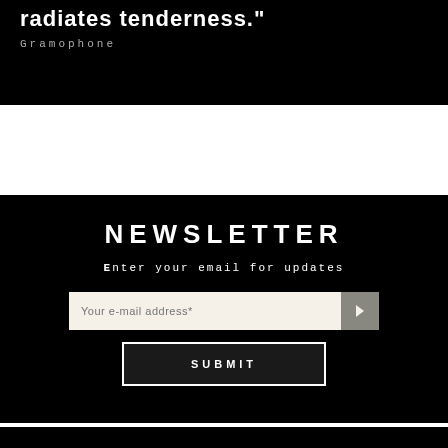radiates tenderness."
Gramophone
NEWSLETTER
Enter your email for updates
Your e-mail address*
SUBMIT